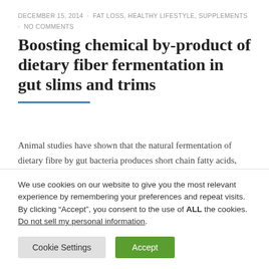DECEMBER 15, 2014 · FAT LOSS, HEALTHY LIFESTYLE, SUPPLEMENTS · NO COMMENTS
Boosting chemical by-product of dietary fiber fermentation in gut slims and trims
Animal studies have shown that the natural fermentation of dietary fibre by gut bacteria produces short chain fatty acids, one of which is propionate. These fatty acids stimulate the release of the appetite...
We use cookies on our website to give you the most relevant experience by remembering your preferences and repeat visits. By clicking “Accept”, you consent to the use of ALL the cookies.
Do not sell my personal information.